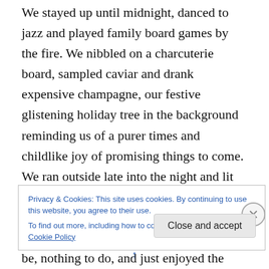We stayed up until midnight, danced to jazz and played family board games by the fire. We nibbled on a charcuterie board, sampled caviar and drank expensive champagne, our festive glistening holiday tree in the background reminding us of a purer times and childlike joy of promising things to come. We ran outside late into the night and lit sparklers, the boys rolling in the snow and squealing with delight beneath the full moon. We laughed. We had nowhere to be, nothing to do, and just enjoyed the moment together. I awoke the next morning with a sense of optimism, hope, and reflection. This is, after all, the year
Privacy & Cookies: This site uses cookies. By continuing to use this website, you agree to their use.
To find out more, including how to control cookies, see here: Cookie Policy